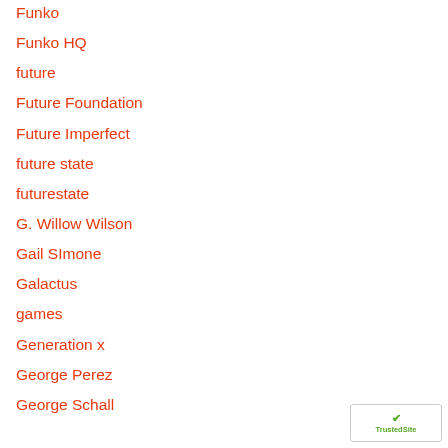Funko
Funko HQ
future
Future Foundation
Future Imperfect
future state
futurestate
G. Willow Wilson
Gail SImone
Galactus
games
Generation x
George Perez
George Schall